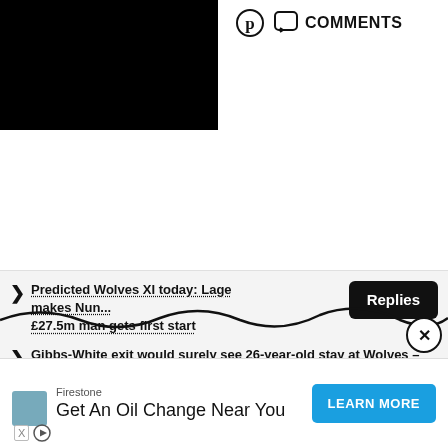[Figure (photo): Black image/video thumbnail in top-left]
COMMENTS
Predicted Wolves XI today: Lage makes Nun... £27.5m man gets first start
Replies
Gibbs-White exit would surely see 26-year-old stay at Wolves – opinion
After signing Nunes, Wolves still hold inte...
[Figure (screenshot): Advertisement: Firestone - Get An Oil Change Near You with LEARN MORE button]